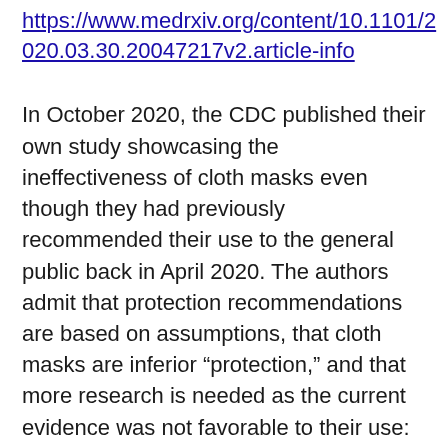https://www.medrxiv.org/content/10.1101/2020.03.30.20047217v2.article-info
In October 2020, the CDC published their own study showcasing the ineffectiveness of cloth masks even though they had previously recommended their use to the general public back in April 2020. The authors admit that protection recommendations are based on assumptions, that cloth masks are inferior “protection,” and that more research is needed as the current evidence was not favorable to their use: